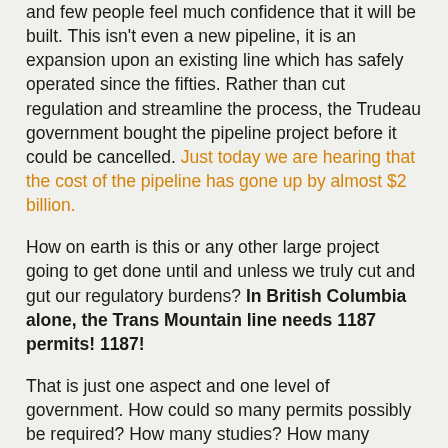and few people feel much confidence that it will be built. This isn't even a new pipeline, it is an expansion upon an existing line which has safely operated since the fifties. Rather than cut regulation and streamline the process, the Trudeau government bought the pipeline project before it could be cancelled. Just today we are hearing that the cost of the pipeline has gone up by almost $2 billion.
How on earth is this or any other large project going to get done until and unless we truly cut and gut our regulatory burdens? In British Columbia alone, the Trans Mountain line needs 1187 permits! 1187!
That is just one aspect and one level of government. How could so many permits possibly be required? How many studies? How many applications? How much time to wait for approvals? How many revisions get called for? By the time the last permit gets approved, the first ones will have expired. It is nothing less than madness.